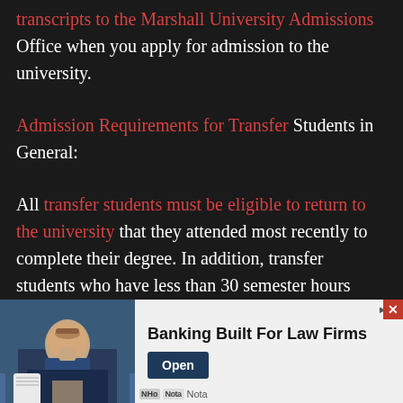transcripts to the Marshall University Admissions Office when you apply for admission to the university.
Admission Requirements for Transfer Students in General:
All transfer students must be eligible to return to the university that they attended most recently to complete their degree. In addition, transfer students who have less than 30 semester hours
[Figure (other): Advertisement banner: Banking Built For Law Firms, with Open button and a photo of a professional man at a desk]